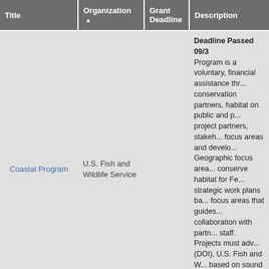| Title | Organization ▲ | Grant Deadline | Description |
| --- | --- | --- | --- |
| Coastal Program | U.S. Fish and Wildlife Service |  | Deadline Passed 09/3... Program is a voluntary, financial assistance thr... conservation partners, habitat on public and p... project partners, stakeh... focus areas and develo... Geographic focus area... conserve habitat for Fe... strategic work plans ba... focus areas that guides... collaboration with partn... staff. Projects must adv... (DOI), U.S. Fish and W... based on sound scient... financial assistance pri... 1, 3, 8. See website fo... |
|  |  |  | Deadline passed as o... Forest Service is autho... governments, Indian tri... trusts) to establish co... |